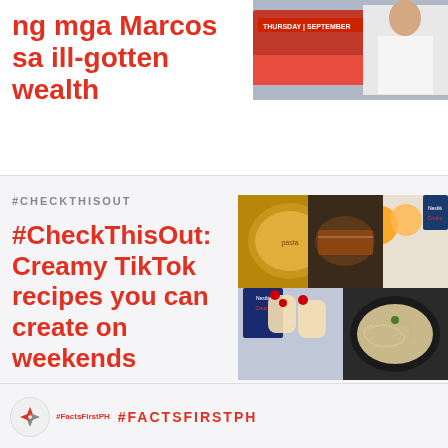ng mga Marcos sa ill-gotten wealth
[Figure (photo): Photo of a person in white chef/lab coat with a truck/vehicle in background, showing text 'THURSDAY SEPTEMBER']
#CHECKTHISOUT
#CheckThisOut: Creamy TikTok recipes you can create on weekends
[Figure (photo): Collage of food photos: macaroni/pasta dish, grilled meat with sauce, fruit/dessert cups with berries, and a noodle dish in black bowl]
#FactsFirstPH  #FACTSFIRSTPH